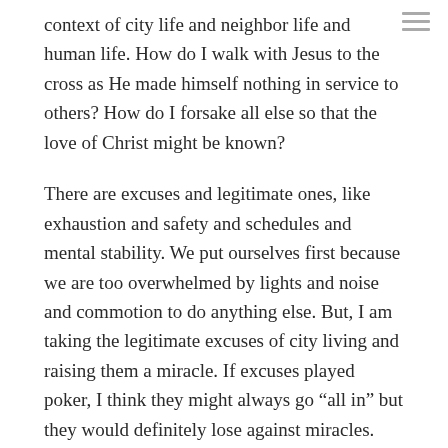context of city life and neighbor life and human life. How do I walk with Jesus to the cross as He made himself nothing in service to others? How do I forsake all else so that the love of Christ might be known?
There are excuses and legitimate ones, like exhaustion and safety and schedules and mental stability. We put ourselves first because we are too overwhelmed by lights and noise and commotion to do anything else. But, I am taking the legitimate excuses of city living and raising them a miracle. If excuses played poker, I think they might always go “all in” but they would definitely lose against miracles.
MIRACLES TRUMP EXCUSES.